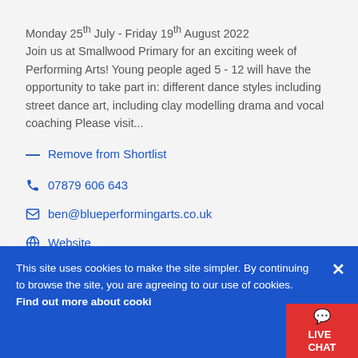Monday 25th July - Friday 19th August 2022
Join us at Smallwood Primary for an exciting week of Performing Arts! Young people aged 5 - 12 will have the opportunity to take part in: different dance styles including street dance art, including clay modelling drama and vocal coaching Please visit...
— Remove from Shortlist
07879 606 643
ben@blueperformingarts.co.uk
Website
Smallwood Primary School, Smallwood Road,
This site uses cookies to make the site simpler. By continuing to browse the site, you are agreeing to our use of cookies. Find out more about cookies